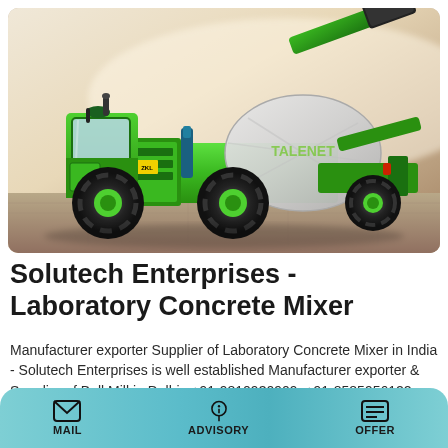[Figure (photo): Green self-loading concrete mixer truck (TALENET brand) on a paved surface with a hazy background. The machine is bright green with black wheels and a white rotating drum.]
Solutech Enterprises - Laboratory Concrete Mixer
Manufacturer exporter Supplier of Laboratory Concrete Mixer in India - Solutech Enterprises is well established Manufacturer exporter & Supplier of Ball Mill in Delhi . +91-9810930909, +91-8585956122
MAIL   ADVISORY   OFFER